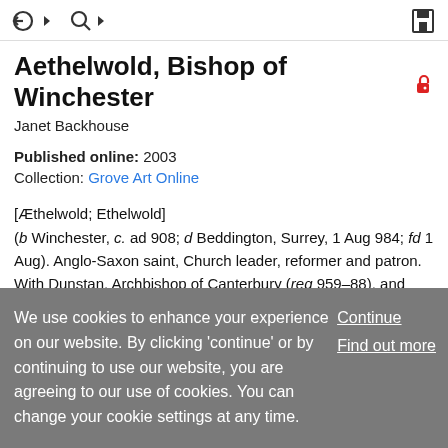toolbar with navigation icons
Aethelwold, Bishop of Winchester
Janet Backhouse
Published online: 2003
Collection: Grove Art Online
[Æthelwold; Ethelwold]
(b Winchester, c. ad 908; d Beddington, Surrey, 1 Aug 984; fd 1 Aug). Anglo-Saxon saint, Church leader, reformer and patron. With Dunstan, Archbishop of Canterbury (reg 959–88), and Oswald, Archbishop of York (reg 972–92), he was the moving spirit behind the English monastic revival of the
We use cookies to enhance your experience on our website. By clicking 'continue' or by continuing to use our website, you are agreeing to our use of cookies. You can change your cookie settings at any time.